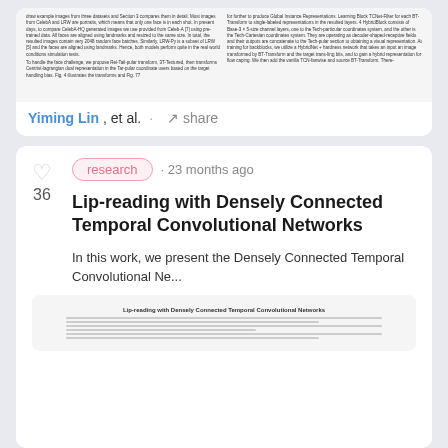[Figure (screenshot): Thumbnail preview of a scientific paper with two columns of small text]
Yiming Lin, et al. · share
research · 23 months ago
Lip-reading with Densely Connected Temporal Convolutional Networks
In this work, we present the Densely Connected Temporal Convolutional Ne...
[Figure (screenshot): Thumbnail preview of the paper 'Lip-reading with Densely Connected Temporal Convolutional Networks']